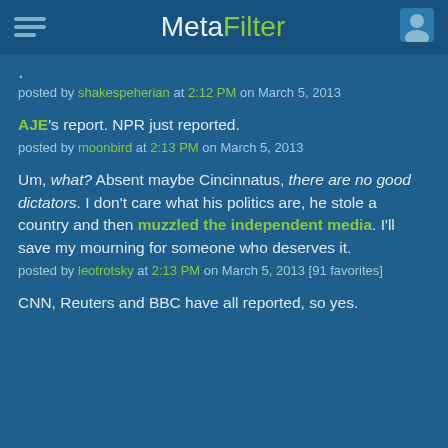MetaFilter
.
posted by shakespeherian at 2:12 PM on March 5, 2013
AJE's report. NPR just reported.
posted by moonbird at 2:13 PM on March 5, 2013
Um, what? Absent maybe Cincinnatus, there are no good dictators. I don't care what his politics are, he stole a country and then muzzled the independent media. I'll save my mourning for someone who deserves it.
posted by leotrotsky at 2:13 PM on March 5, 2013 [91 favorites]
CNN, Reuters and BBC have all reported, so yes.